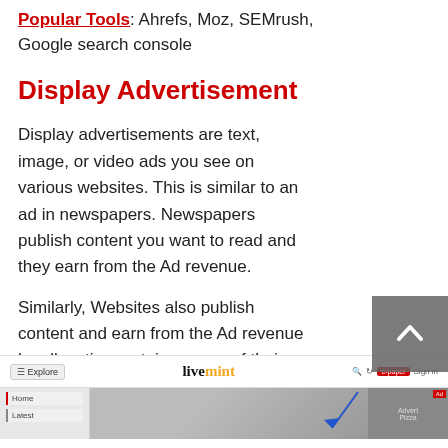Popular Tools: Ahrefs, Moz, SEMrush, Google search console
Display Advertisement
Display advertisements are text, image, or video ads you see on various websites. This is similar to an ad in newspapers. Newspapers publish content you want to read and they earn from the Ad revenue.
Similarly, Websites also publish content and earn from the Ad revenue by allocating certain spaces of their websites for Ads.
[Figure (screenshot): Screenshot of the livemint website homepage showing navigation bar, logo, content area, and an advertisement block with a blue arrow pointing to an ad area. A scroll-to-top button is visible on the right side.]